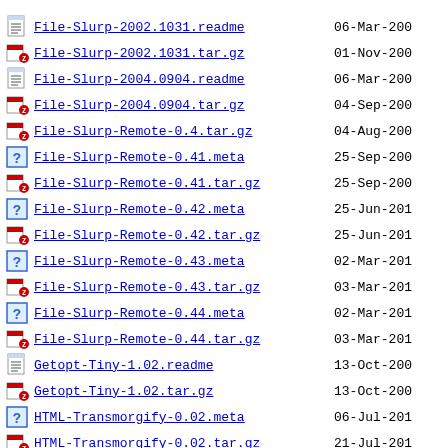File-Slurp-2002.1031.readme  06-Mar-200
File-Slurp-2002.1031.tar.gz  01-Nov-200
File-Slurp-2004.0904.readme  06-Mar-200
File-Slurp-2004.0904.tar.gz  04-Sep-200
File-Slurp-Remote-0.4.tar.gz  04-Aug-200
File-Slurp-Remote-0.41.meta  25-Sep-200
File-Slurp-Remote-0.41.tar.gz  25-Sep-200
File-Slurp-Remote-0.42.meta  25-Jun-201
File-Slurp-Remote-0.42.tar.gz  25-Jun-201
File-Slurp-Remote-0.43.meta  02-Mar-201
File-Slurp-Remote-0.43.tar.gz  03-Mar-201
File-Slurp-Remote-0.44.meta  02-Mar-201
File-Slurp-Remote-0.44.tar.gz  03-Mar-201
Getopt-Tiny-1.02.readme  13-Oct-200
Getopt-Tiny-1.02.tar.gz  13-Oct-200
HTML-Transmorgify-0.02.meta  06-Jul-201
HTML-Transmorgify-0.02.tar.gz  21-Jul-201